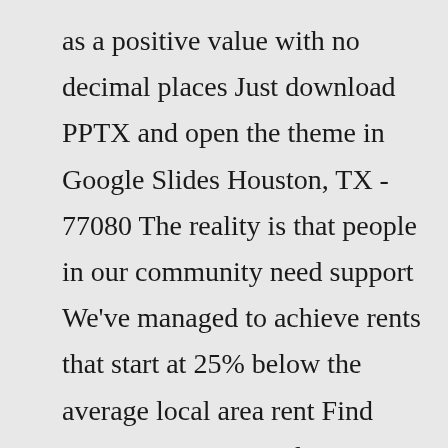as a positive value with no decimal places Just download PPTX and open the theme in Google Slides Houston, TX - 77080 The reality is that people in our community need support We've managed to achieve rents that start at 25% below the average local area rent Find Your New Home Today New housing development Are you looking for Arizona State off-campus housing? If so, you're in the right place The Social